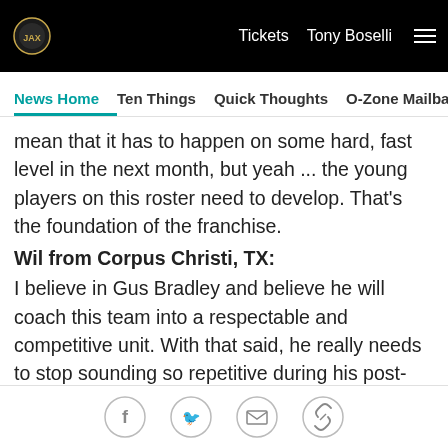Tickets  Tony Boselli  ☰
News Home  Ten Things  Quick Thoughts  O-Zone Mailbag  Ros
mean that it has to happen on some hard, fast level in the next month, but yeah ... the young players on this roster need to develop. That's the foundation of the franchise.
Wil from Corpus Christi, TX:
I believe in Gus Bradley and believe he will coach this team into a respectable and competitive unit. With that said, he really needs to stop sounding so repetitive during his post-game conferences. I know that "football talk" is full of "cliches" and repetitive statements but when the fan base is upset that only makes things worse. I can't think of any way that Mr. Bradley can say
[Figure (other): Social media share icons: Facebook, Twitter, Email, Link]